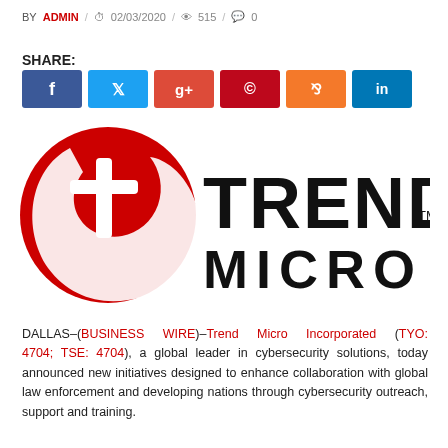BY ADMIN / 02/03/2020 / 515 / 0
SHARE:
[Figure (other): Social share buttons: Facebook, Twitter, Google+, Pinterest, StumbleUpon, LinkedIn]
[Figure (logo): Trend Micro logo — red sphere with white 't' swirl on left, TREND MICRO text in bold black on right with TM superscript]
DALLAS–(BUSINESS WIRE)–Trend Micro Incorporated (TYO: 4704; TSE: 4704), a global leader in cybersecurity solutions, today announced new initiatives designed to enhance collaboration with global law enforcement and developing nations through cybersecurity outreach, support and training.